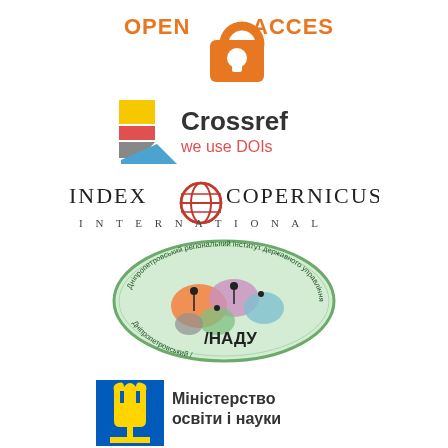[Figure (logo): Open Access logo - orange lock icon with text OPEN ACCESS]
[Figure (logo): Crossref logo - colorful geometric shapes with text 'Crossref we use DOIs']
[Figure (logo): Index Copernicus International logo - globe icon with text INDEX COPERNICUS INTERNATIONAL]
[Figure (logo): Dnipropetrovsk Regional Institute of Public Administration NADO - oval badge with Ukrainian text and colorful map illustration]
[Figure (logo): Ukrainian Ministry of Education and Science logo - trident coat of arms with Ukrainian text 'Міністерство освіти і науки']